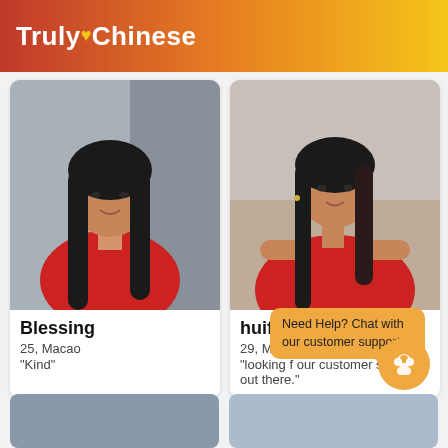[Figure (logo): TrulyChinese app logo with heart icon on gradient red-orange-yellow header]
[Figure (photo): Profile photo of Blessing, young woman in red top with long dark hair, smiling]
Blessing
25, Macao
"Kind"
[Figure (photo): Profile photo of huifen, woman in red off-shoulder top with long dark hair]
huifen
29, Macao
"looking f our customer support out there."
Need Help? Chat with our customer support